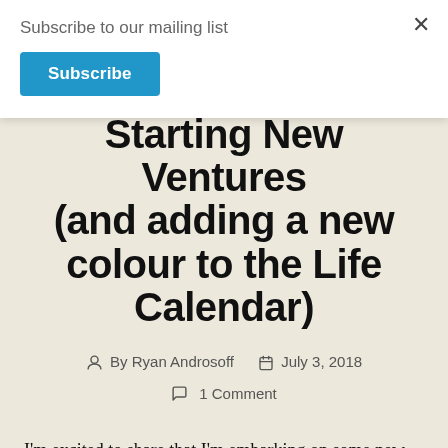Subscribe to our mailing list
Subscribe
Starting New Ventures (and adding a new colour to the Life Calendar)
By Ryan Androsoff  July 3, 2018  1 Comment
I'm excited to share that I'm embarking on some new ventures in my digital government journey. Late last year I made a big leap professionally and left the federal